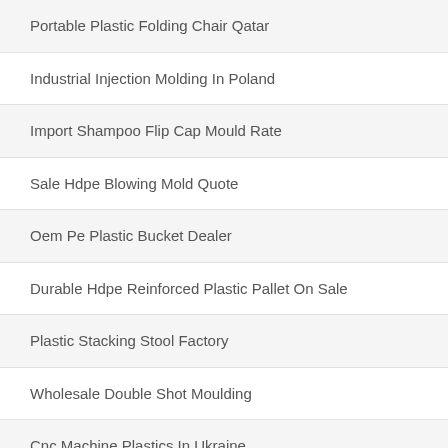Portable Plastic Folding Chair Qatar
Industrial Injection Molding In Poland
Import Shampoo Flip Cap Mould Rate
Sale Hdpe Blowing Mold Quote
Oem Pe Plastic Bucket Dealer
Durable Hdpe Reinforced Plastic Pallet On Sale
Plastic Stacking Stool Factory
Wholesale Double Shot Moulding
Cnc Machine Plastics In Ukraine
Plastic Pail Mould Machine In Colombia